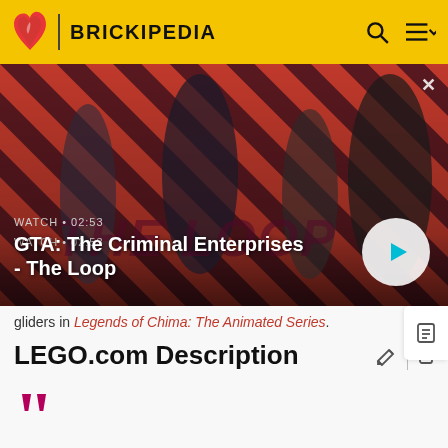BRICKIPEDIA
[Figure (screenshot): Video banner showing GTA: The Criminal Enterprises - The Loop with characters on red striped background. Watch time 02:53 shown. Play button visible.]
gliders in Legends of Chima: The Animated Series.
LEGO.com Description
““